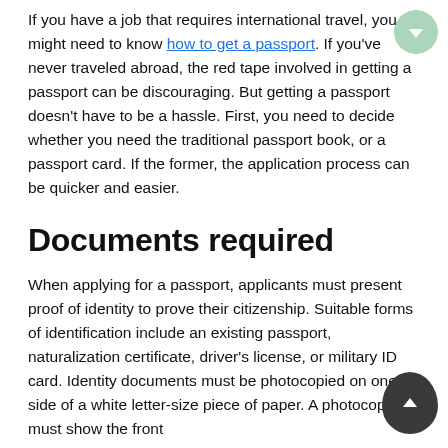If you have a job that requires international travel, you might need to know how to get a passport. If you've never traveled abroad, the red tape involved in getting a passport can be discouraging. But getting a passport doesn't have to be a hassle. First, you need to decide whether you need the traditional passport book, or a passport card. If the former, the application process can be quicker and easier.
Documents required
When applying for a passport, applicants must present proof of identity to prove their citizenship. Suitable forms of identification include an existing passport, naturalization certificate, driver's license, or military ID card. Identity documents must be photocopied on one side of a white letter-size piece of paper. A photocopy must show the front...